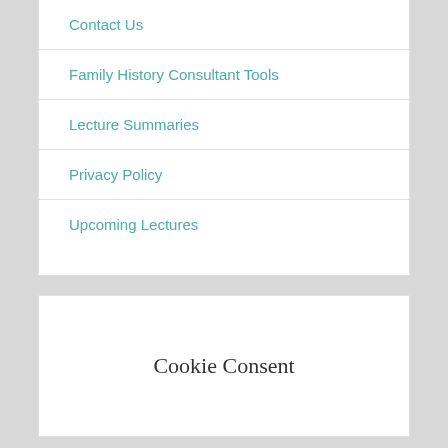Contact Us
Family History Consultant Tools
Lecture Summaries
Privacy Policy
Upcoming Lectures
Cookie Consent